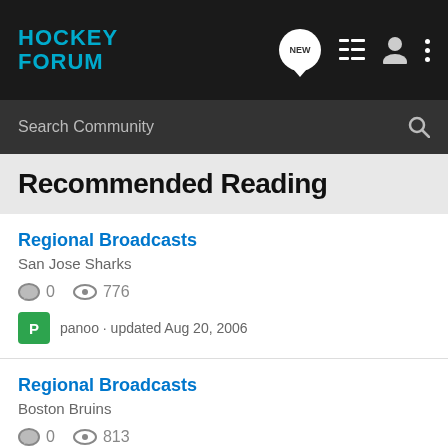HOCKEY FORUM
Search Community
Recommended Reading
Regional Broadcasts
San Jose Sharks
0 comments · 776 views
panoo · updated Aug 20, 2006
Regional Broadcasts
Boston Bruins
0 comments · 813 views
panoo · updated Aug 19, 2006